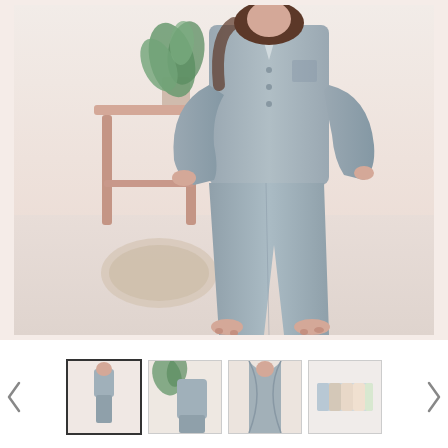[Figure (photo): A person wearing a gray button-up pajama set (long-sleeve top and wide-leg trousers), standing barefoot. Background includes a wooden stool, green plant, and beige/cream wall with a woven item on the floor.]
[Figure (photo): Thumbnail strip showing four small product photos with left and right navigation arrows. First thumbnail (selected, with border) shows full-body shot of gray pajama set. Second shows close-up of top/pants. Third shows close-up of robe collar. Fourth shows folded fabric swatches in multiple colors.]